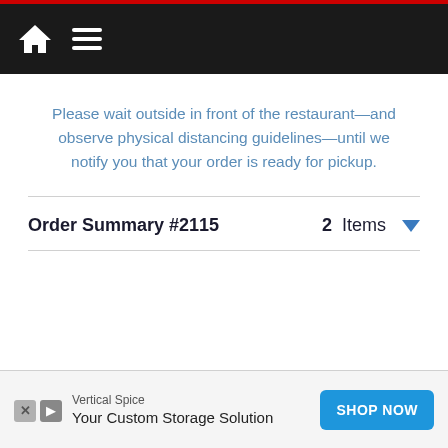Navigation bar with home icon and menu icon
Please wait outside in front of the restaurant—and observe physical distancing guidelines—until we notify you that your order is ready for pickup.
Order Summary #2115   2 Items
[Figure (screenshot): Advertisement banner for Vertical Spice: 'Your Custom Storage Solution' with SHOP NOW button]